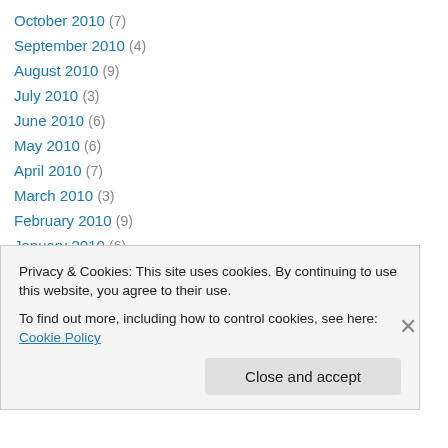October 2010 (7)
September 2010 (4)
August 2010 (9)
July 2010 (3)
June 2010 (6)
May 2010 (6)
April 2010 (7)
March 2010 (3)
February 2010 (9)
January 2010 (6)
December 2009 (6)
November 2009 (7)
October 2009 (5)
Privacy & Cookies: This site uses cookies. By continuing to use this website, you agree to their use. To find out more, including how to control cookies, see here: Cookie Policy